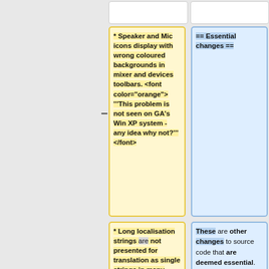* Speaker and Mic icons display with wrong coloured backgrounds in mixer and devices toolbars. <font color="orange"> '''This problem is not seen on GA's Win XP system - any idea why not?''' </font>
== Essential changes ==
* Long localisation strings are not presented for translation as single strings in many cases, due to the way they are written in the code.  The solution of having the
These are other changes to source code that are deemed essential. We will do all of these for final release candidate for 2.0.